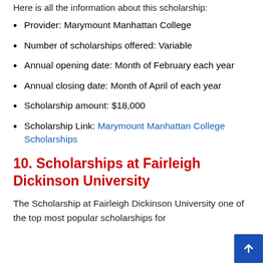Here is all the information about this scholarship:
Provider: Marymount Manhattan College
Number of scholarships offered: Variable
Annual opening date: Month of February each year
Annual closing date: Month of April of each year
Scholarship amount: $18,000
Scholarship Link: Marymount Manhattan College Scholarships
10. Scholarships at Fairleigh Dickinson University
The Scholarship at Fairleigh Dickinson University one of the top most popular scholarships for